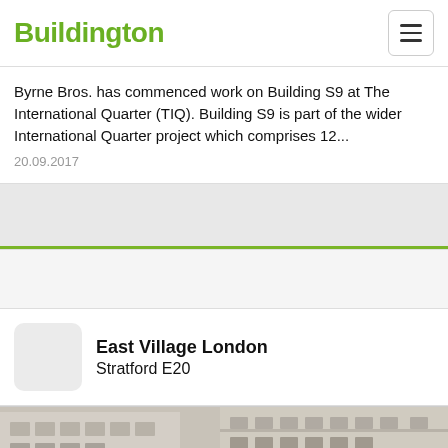Buildington
Byrne Bros. has commenced work on Building S9 at The International Quarter (TIQ). Building S9 is part of the wider International Quarter project which comprises 12...
20.09.2017
[Figure (photo): Gray image placeholder for news article photo with green horizontal bar below]
[Figure (photo): Gray spacer area between content sections]
East Village London
Stratford E20
[Figure (photo): Bottom strip showing a building facade photograph]